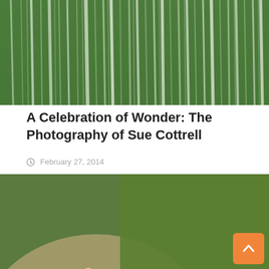[Figure (photo): Abstract close-up of tall green grass or reeds with a blurred, streaked appearance creating vertical lines of green and white]
A Celebration of Wonder: The Photography of Sue Cottrell
February 27, 2014
[Figure (photo): A hiker in a teal shirt and pink backpack crossing a rocky stream surrounded by lush green moss, ferns, and boulders in a forest setting]
A Daypack and Sleeping Pad for the Cost-Conscious Hiker